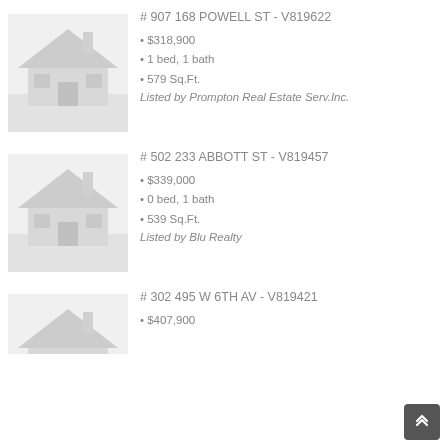[Figure (illustration): Placeholder house icon image for listing 1]
# 907 168 POWELL ST - V819622
$318,900
1 bed, 1 bath
579 Sq.Ft.
Listed by Prompton Real Estate Serv.Inc.
[Figure (illustration): Placeholder house icon image for listing 2]
# 502 233 ABBOTT ST - V819457
$339,000
0 bed, 1 bath
539 Sq.Ft.
Listed by Blu Realty
[Figure (illustration): Placeholder house icon image for listing 3]
# 302 495 W 6TH AV - V819421
$407,900